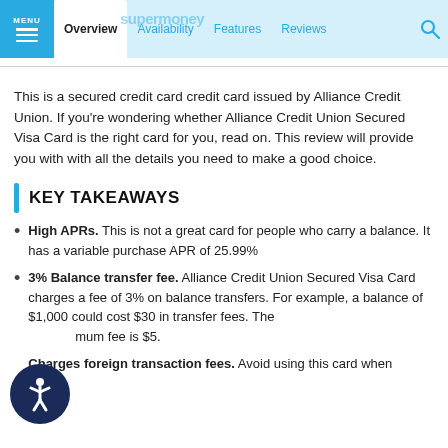MENU | Overview | Availability | Features | Reviews
This is a secured credit card credit card issued by Alliance Credit Union. If you're wondering whether Alliance Credit Union Secured Visa Card is the right card for you, read on. This review will provide you with with all the details you need to make a good choice.
KEY TAKEAWAYS
High APRs. This is not a great card for people who carry a balance. It has a variable purchase APR of 25.99%
3% Balance transfer fee. Alliance Credit Union Secured Visa Card charges a fee of 3% on balance transfers. For example, a balance of $1,000 could cost $30 in transfer fees. The minimum fee is $5.
Charges foreign transaction fees. Avoid using this card when